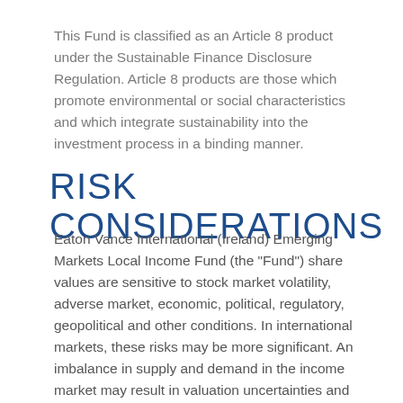This Fund is classified as an Article 8 product under the Sustainable Finance Disclosure Regulation. Article 8 products are those which promote environmental or social characteristics and which integrate sustainability into the investment process in a binding manner.
RISK CONSIDERATIONS
Eaton Vance International (Ireland) Emerging Markets Local Income Fund (the "Fund") share values are sensitive to stock market volatility, adverse market, economic, political, regulatory, geopolitical and other conditions. In international markets, these risks may be more significant. An imbalance in supply and demand in the income market may result in valuation uncertainties and greater volatility, less liquidity, widening credit spreads and a lack of price